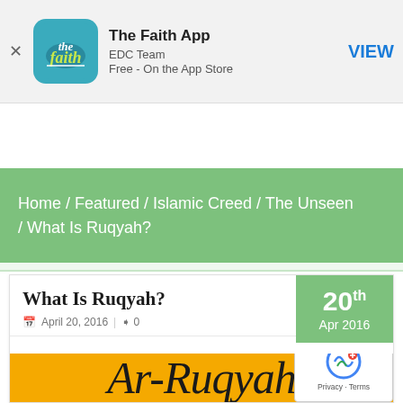[Figure (screenshot): App Store banner for 'The Faith App' by EDC Team, Free - On the App Store, with VIEW button]
[Figure (screenshot): Website navigation bar with Faith logo and hamburger menu button]
Home / Featured / Islamic Creed / The Unseen / What Is Ruqyah?
What Is Ruqyah?
April 20, 2016  0  20th Apr 2016
[Figure (illustration): Yellow background image with text 'Ar-Ruqyah' in decorative font]